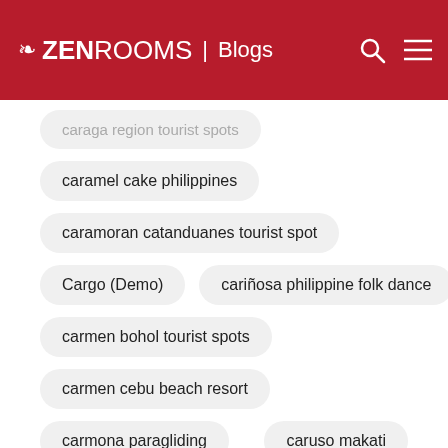ZEN ROOMS | Blogs
caraga region tourist spots
caramel cake philippines
caramoran catanduanes tourist spot
Cargo (Demo)
cariñosa philippine folk dance
carmen bohol tourist spots
carmen cebu beach resort
carmona paragliding
caruso makati
casa bel
casa consuelo pagudpud
casa marita
casa verde cebu